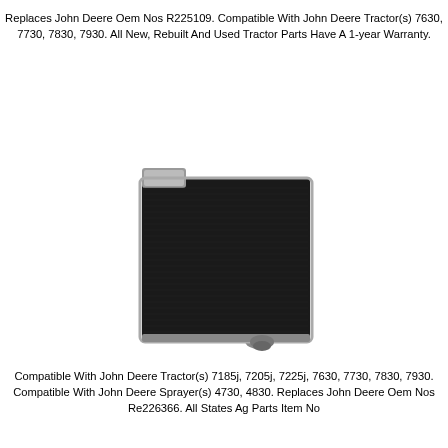Replaces John Deere Oem Nos R225109. Compatible With John Deere Tractor(s) 7630, 7730, 7830, 7930. All New, Rebuilt And Used Tractor Parts Have A 1-year Warranty.
[Figure (photo): Photo of a black tractor radiator with fins visible, viewed from slightly above and front angle. The radiator is rectangular with an inlet/outlet port visible at the bottom right.]
Compatible With John Deere Tractor(s) 7185j, 7205j, 7225j, 7630, 7730, 7830, 7930. Compatible With John Deere Sprayer(s) 4730, 4830. Replaces John Deere Oem Nos Re226366. All States Ag Parts Item No